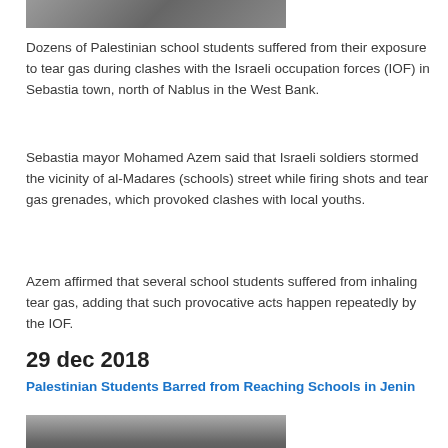[Figure (photo): Partial top photo showing people, cropped at top of page]
Dozens of Palestinian school students suffered from their exposure to tear gas during clashes with the Israeli occupation forces (IOF) in Sebastia town, north of Nablus in the West Bank.
Sebastia mayor Mohamed Azem said that Israeli soldiers stormed the vicinity of al-Madares (schools) street while firing shots and tear gas grenades, which provoked clashes with local youths.
Azem affirmed that several school students suffered from inhaling tear gas, adding that such provocative acts happen repeatedly by the IOF.
29 dec 2018
Palestinian Students Barred from Reaching Schools in Jenin
[Figure (photo): Police vehicle with 'POLICE' text visible, partial photo at bottom of page]